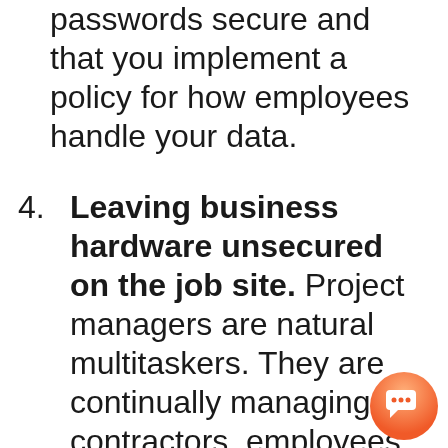passwords secure and that you implement a policy for how employees handle your data.
4. Leaving business hardware unsecured on the job site. Project managers are natural multitaskers. They are continually managing contractors, employees and materials as they come onto the jobsite and as a result, often have to walk away from their laptop or mobile device.